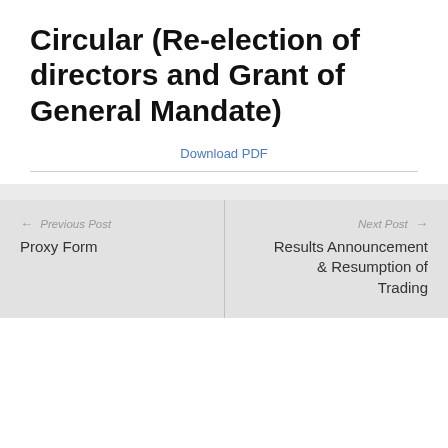Circular (Re-election of directors and Grant of General Mandate)
Download PDF
← Previous Post
Proxy Form
Next Post →
Results Announcement & Resumption of Trading